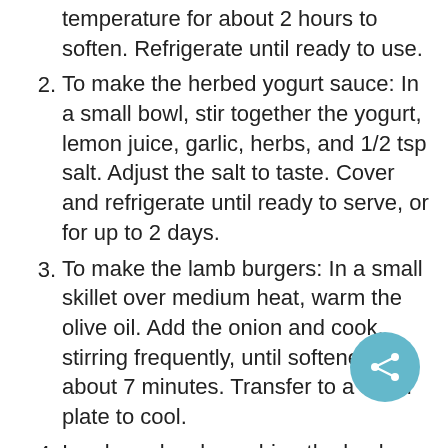temperature for about 2 hours to soften. Refrigerate until ready to use.
2. To make the herbed yogurt sauce: In a small bowl, stir together the yogurt, lemon juice, garlic, herbs, and 1/2 tsp salt. Adjust the salt to taste. Cover and refrigerate until ready to serve, or for up to 2 days.
3. To make the lamb burgers: In a small skillet over medium heat, warm the olive oil. Add the onion and cook, stirring frequently, until softened, about 7 minutes. Transfer to a small plate to cool.
4. In a large bowl, combine the lamb, pork, mint, dill, parsley, garlic, cumin, coriander, salt, pepper, and cooled onions. Gently mix with your hands. Do not overwork the meat. Divide